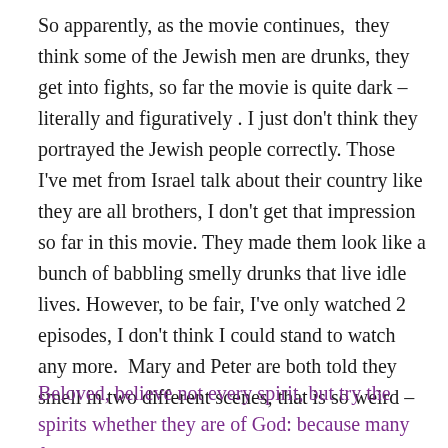So apparently, as the movie continues,  they think some of the Jewish men are drunks, they get into fights, so far the movie is quite dark – literally and figuratively . I just don't think they portrayed the Jewish people correctly. Those I've met from Israel talk about their country like they are all brothers, I don't get that impression so far in this movie. They made them look like a bunch of babbling smelly drunks that live idle lives. However, to be fair, I've only watched 2 episodes, I don't think I could stand to watch any more.  Mary and Peter are both told they smell in two different scenes, that is so weird –
Beloved, believe not every spirit, but try the spirits whether they are of God: because many false prophets